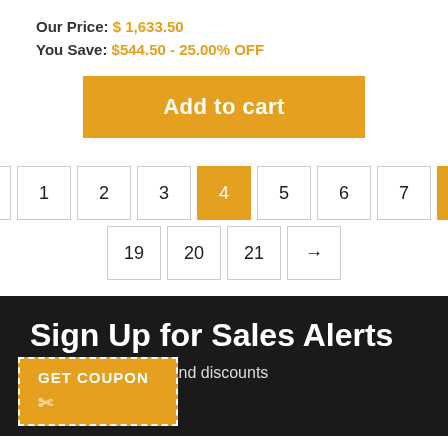Our Price: $1,633.50
You Save: $544.50 - 25.00% OFF
Add to cart
← 1 2 3 4 5 6 7 ...
19 20 21 →
Sign Up for Sales Alerts
bout our new items and discounts our mailing list!
GET COUPON